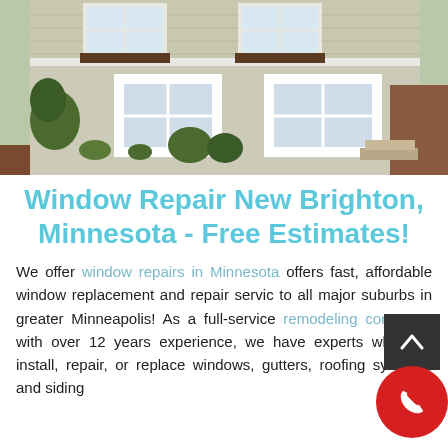[Figure (photo): Exterior photo of a two-story light gray brick house with white window trim, window boxes with flowers, green shutters, and landscaping in front.]
Window Repair New Brighton, Minnesota - Free Estimates!
We offer window repairs in Minnesota offers fast, affordable window replacement and repair services to all major suburbs in greater Minneapolis! As a full-service remodeling contractor with over 12 years experience, we have experts who can install, repair, or replace windows, gutters, roofing systems, and siding